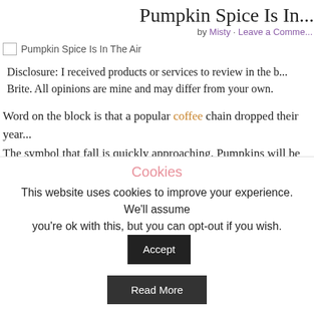Pumpkin Spice Is In...
by Misty · Leave a Comment
[Figure (photo): Broken image placeholder labeled 'Pumpkin Spice Is In The Air']
Disclosure: I received products or services to review in the b... Brite. All opinions are mine and may differ from your own.
Word on the block is that a popular coffee chain dropped their year... The symbol that fall is quickly approaching. Pumpkins will be on c... Halloween decorations out in the no time. Did you there is one oth... life? A way that doesn't involve all the side-eyes from your friends...
Cookies
This website uses cookies to improve your experience. We'll assume you're ok with this, but you can opt-out if you wish.
Accept
Read More